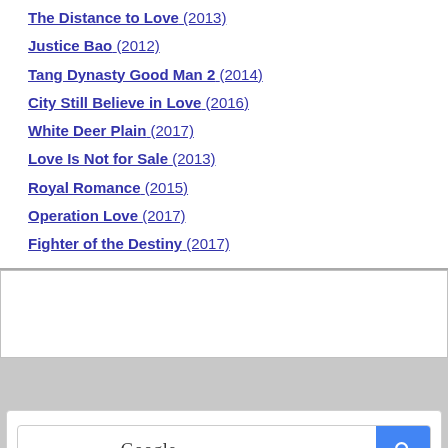The Distance to Love (2013)
Justice Bao (2012)
Tang Dynasty Good Man 2 (2014)
City Still Believe in Love (2016)
White Deer Plain (2017)
Love Is Not for Sale (2013)
Royal Romance (2015)
Operation Love (2017)
Fighter of the Destiny (2017)
[Figure (screenshot): Google enhanced search bar widget with blue search button]